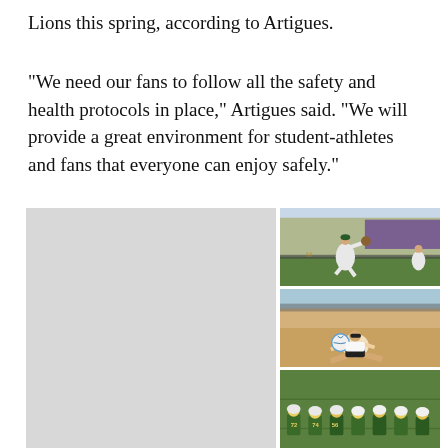Lions this spring, according to Artigues.
“We need our fans to follow all the safety and health protocols in place,” Artigues said. “We will provide a great environment for student-athletes and fans that everyone can enjoy safely.”
[Figure (photo): Left side placeholder gray area]
[Figure (photo): Baseball pitcher in green uniform mid-wind-up on a baseball field with spectators in background]
[Figure (photo): Female beach volleyball player in white uniform diving for ball in sand]
[Figure (photo): Football players in green and gold uniforms lined up on field]